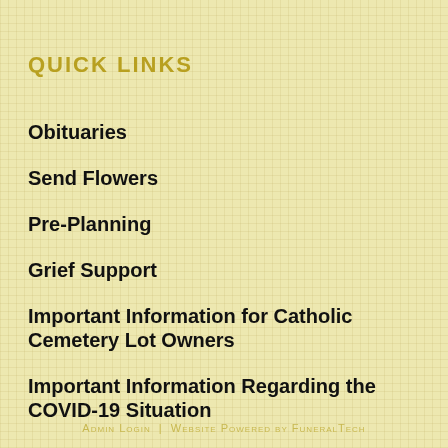QUICK LINKS
Obituaries
Send Flowers
Pre-Planning
Grief Support
Important Information for Catholic Cemetery Lot Owners
Important Information Regarding the COVID-19 Situation
Admin Login | Website Powered by FuneralTech